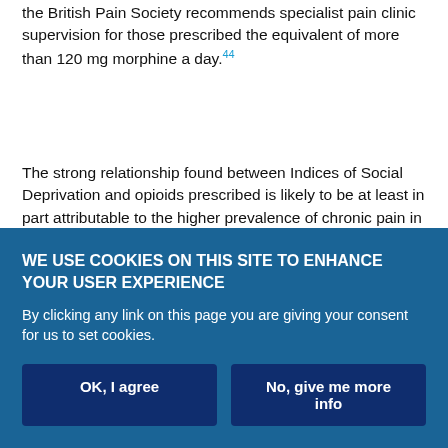the British Pain Society recommends specialist pain clinic supervision for those prescribed the equivalent of more than 120 mg morphine a day.44
The strong relationship found between Indices of Social Deprivation and opioids prescribed is likely to be at least in part attributable to the higher prevalence of chronic pain in people of lower socioeconomic status. In 2011, 40% of males and 44% of females in the lowest income quartile met the criteria for chronic pain (British Pain Society definition), compared with 24% and 30%, respectively, in the highest quartile.4 Additionally, there is a strong association between unemployment and poor outcomes in chronic pain.45,46 A
WE USE COOKIES ON THIS SITE TO ENHANCE YOUR USER EXPERIENCE
By clicking any link on this page you are giving your consent for us to set cookies.